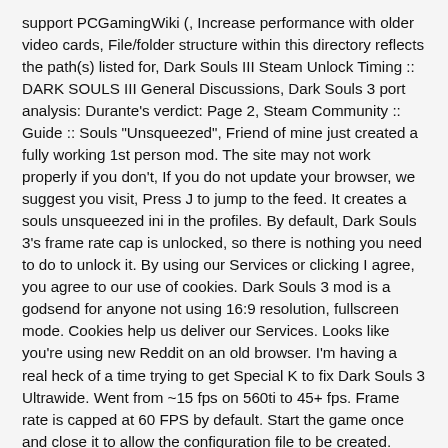support PCGamingWiki (, Increase performance with older video cards, File/folder structure within this directory reflects the path(s) listed for, Dark Souls III Steam Unlock Timing :: DARK SOULS III General Discussions, Dark Souls 3 port analysis: Durante's verdict: Page 2, Steam Community :: Guide :: Souls "Unsqueezed", Friend of mine just created a fully working 1st person mod. The site may not work properly if you don't, If you do not update your browser, we suggest you visit, Press J to jump to the feed. It creates a souls unsqueezed ini in the profiles. By default, Dark Souls 3's frame rate cap is unlocked, so there is nothing you need to do to unlock it. By using our Services or clicking I agree, you agree to our use of cookies. Dark Souls 3 mod is a godsend for anyone not using 16:9 resolution, fullscreen mode. Cookies help us deliver our Services. Looks like you're using new Reddit on an old browser. I'm having a real heck of a time trying to get Special K to fix Dark Souls 3 Ultrawide. Went from ~15 fps on 560ti to 45+ fps. Frame rate is capped at 60 FPS by default. Start the game once and close it to allow the configuration file to be created. Dark Souls 3 Unsqueezed mod fixes resolution, HUD scaling issues. This page was last edited on 14 October 2020, at 08:16.